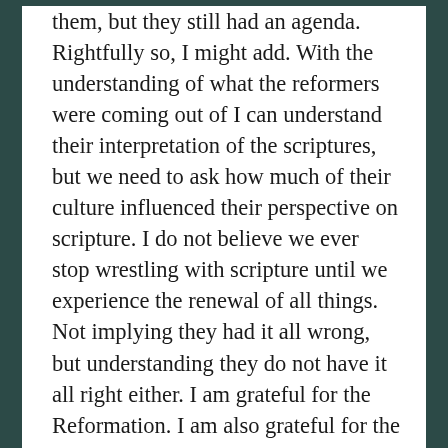them, but they still had an agenda. Rightfully so, I might add. With the understanding of what the reformers were coming out of I can understand their interpretation of the scriptures, but we need to ask how much of their culture influenced their perspective on scripture. I do not believe we ever stop wrestling with scripture until we experience the renewal of all things. Not implying they had it all wrong, but understanding they do not have it all right either. I am grateful for the Reformation. I am also grateful for the work of N.T. Wright and many others brothers and sisters